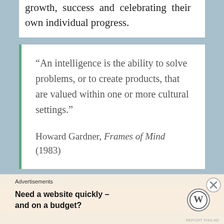growth, success and celebrating their own individual progress.
“An intelligence is the ability to solve problems, or to create products, that are valued within one or more cultural settings.”

Howard Gardner, Frames of Mind (1983)
Advertisements
Need a website quickly – and on a budget?